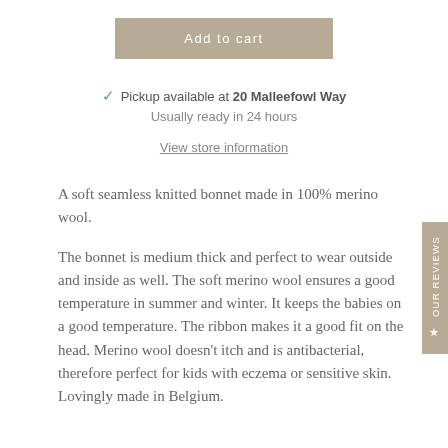Add to cart
Pickup available at 20 Malleefowl Way
Usually ready in 24 hours
View store information
A soft seamless knitted bonnet made in 100% merino wool.
The bonnet is medium thick and perfect to wear outside and inside as well. The soft merino wool ensures a good temperature in summer and winter. It keeps the babies on a good temperature. The ribbon makes it a good fit on the head. Merino wool doesn't itch and is antibacterial, therefore perfect for kids with eczema or sensitive skin. Lovingly made in Belgium.